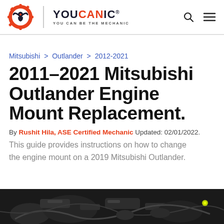YOUCANIC – YOU CAN BE THE MECHANIC
Mitsubishi > Outlander > 2012-2021
2011–2021 Mitsubishi Outlander Engine Mount Replacement.
By Rushit Hila, ASE Certified Mechanic Updated: 02/01/2022.
This guide provides instructions on how to change the engine mount on a 2019 Mitsubishi Outlander.
[Figure (photo): Close-up photo of a car engine bay showing engine components and mounts.]